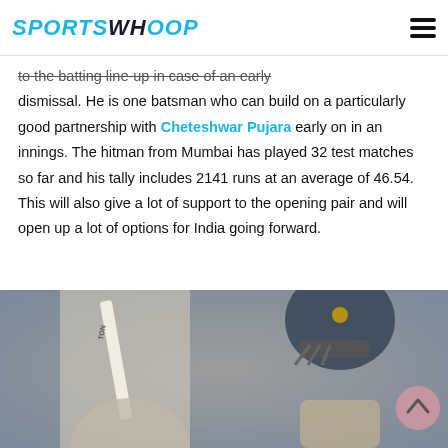SPORTSWHOOP
to the batting line-up in case of an early dismissal. He is one batsman who can build on a particularly good partnership with Cheteshwar Pujara early on in an innings. The hitman from Mumbai has played 32 test matches so far and his tally includes 2141 runs at an average of 46.54. This will also give a lot of support to the opening pair and will open up a lot of options for India going forward.
[Figure (photo): Cricket player holding a bat (TON brand) wearing India cricket team helmet and gear, celebrating or posing during a match.]